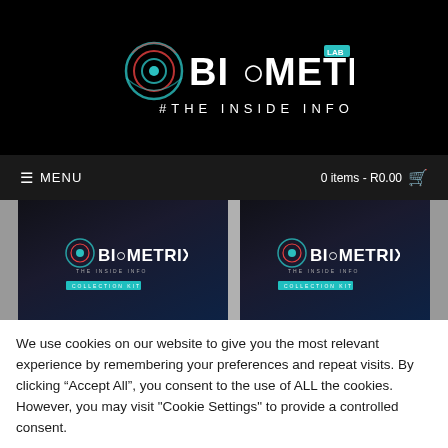BIOMETRIX LAB #THE INSIDE INFO
MENU  0 items - R0.00
[Figure (photo): Two Biometrix Collection Kit product boxes shown side by side on a grey background. Each box is dark/black with the Biometrix logo and 'THE INSIDE INFO' text, and a teal 'COLLECTION KIT' label at the bottom.]
We use cookies on our website to give you the most relevant experience by remembering your preferences and repeat visits. By clicking “Accept All”, you consent to the use of ALL the cookies. However, you may visit "Cookie Settings" to provide a controlled consent.
Cookie Settings  Accept All